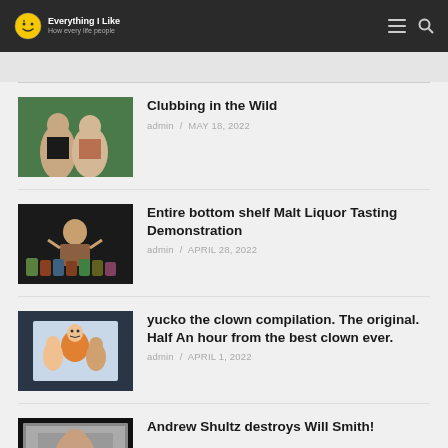Everything I Like
Clubbing in the Wild
admin / MAY 18, 2022
[Figure (photo): Two women standing outdoors, looking at camera]
Entire bottom shelf Malt Liquor Tasting Demonstration
admin / APRIL 28, 2022
[Figure (photo): Person standing with arms raised behind display of bottles and cans]
yucko the clown compilation. The original. Half An hour from the best clown ever.
admin / APRIL 1, 2022
[Figure (photo): Clown character with people in background]
Andrew Shultz destroys Will Smith!
[Figure (photo): Screenshot of video content]